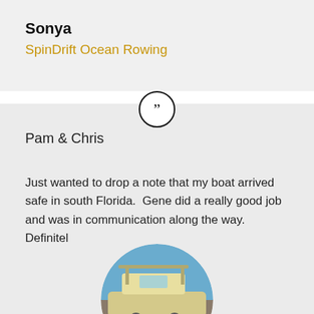Sonya
SpinDrift Ocean Rowing
[Figure (photo): Circular profile photo of a motorboat on a trailer near water]
Pam & Chris
Just wanted to drop a note that my boat arrived safe in south Florida.  Gene did a really good job and was in communication along the way.  Definitel...